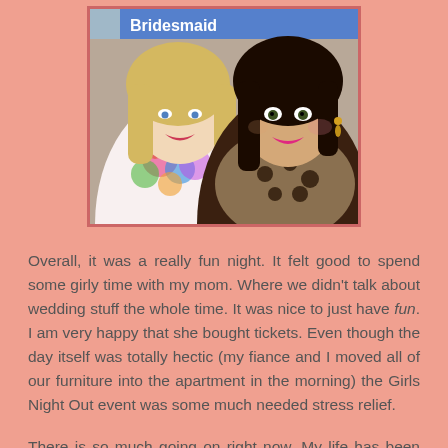[Figure (photo): Two women posing together for a photo indoors. On the left is a blonde woman wearing a colorful floral dress. On the right is a brunette woman wearing a leopard-print top and large earrings. Behind them is a blue banner partially reading 'Bridesmaid'.]
Overall, it was a really fun night. It felt good to spend some girly time with my mom. Where we didn't talk about wedding stuff the whole time. It was nice to just have fun. I am very happy that she bought tickets. Even though the day itself was totally hectic (my fiance and I moved all of our furniture into the apartment in the morning) the Girls Night Out event was some much needed stress relief.
There is so much going on right now. My life has been super hectic lately! But in between all of the to do lists and stress, there have been some really great experiences, too. Those